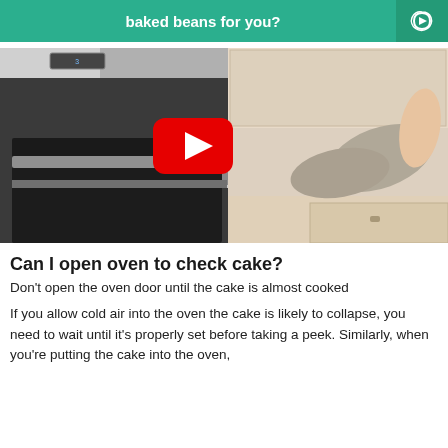baked beans for you?
[Figure (photo): Person wearing oven mitts opening an oven door in a kitchen, with a YouTube play button overlay in the center of the image.]
Can I open oven to check cake?
Don't open the oven door until the cake is almost cooked
If you allow cold air into the oven the cake is likely to collapse, you need to wait until it's properly set before taking a peek. Similarly, when you're putting the cake into the oven,